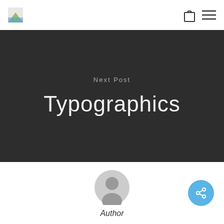Navigation bar with logo, shopping bag icon, and hamburger menu
Next Post
Typographics
[Figure (illustration): Circular user avatar placeholder icon in gray]
Author
[Figure (illustration): Blue circular share button with share icon]